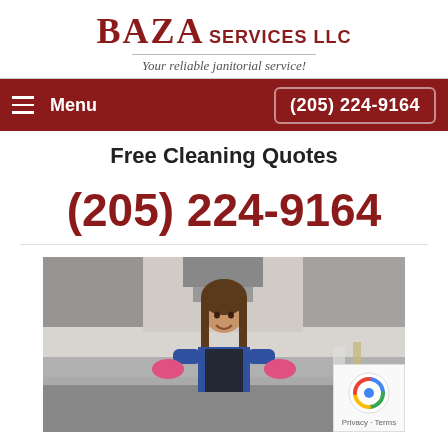BAZA SERVICES LLC
Your reliable janitorial service!
Menu   (205) 224-9164
Free Cleaning Quotes
(205) 224-9164
[Figure (photo): Woman in apron and pink gloves smiling in a kitchen, holding cleaning supplies]